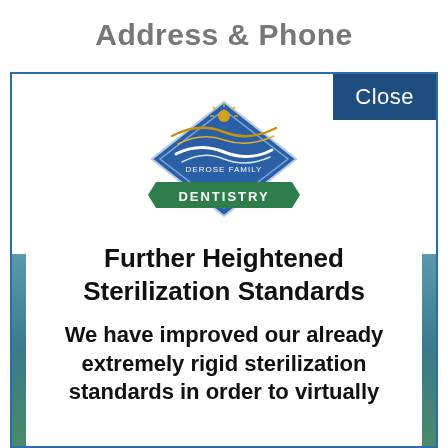Address & Phone
Close
[Figure (logo): DeRose Family Dentistry logo — diamond shape with blue background, green banner reading DENTISTRY, golden sun/wave accent above]
Further Heightened Sterilization Standards
We have improved our already extremely rigid sterilization standards in order to virtually